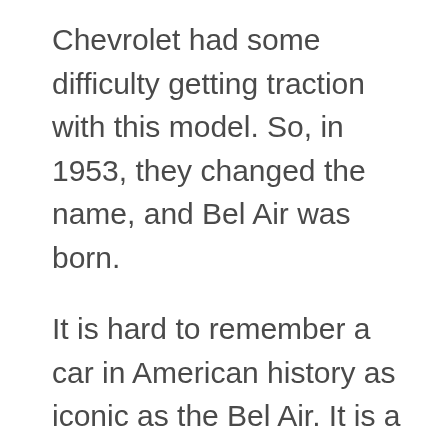Chevrolet had some difficulty getting traction with this model. So, in 1953, they changed the name, and Bel Air was born.
It is hard to remember a car in American history as iconic as the Bel Air. It is a true symbol of the American middle-class showcasing the fashion and the design of those days. The Chevy Bel Air’s style was a masterpiece of an artistic car designer who considered design